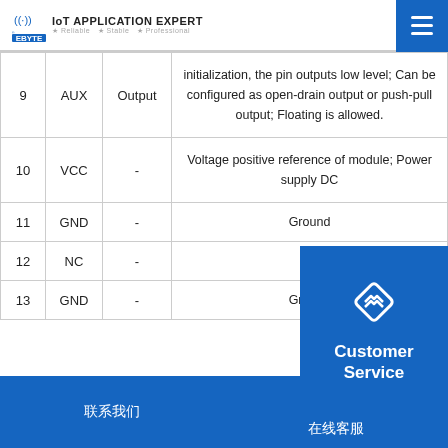EBYTE IoT APPLICATION EXPERT • Reliable • Stable • Professional
| No. | Name | Direction | Description |
| --- | --- | --- | --- |
| 9 | AUX | Output | initialization, the pin outputs low level; Can be configured as open-drain output or push-pull output; Floating is allowed. |
| 10 | VCC | - | Voltage positive reference of module; Power supply DC |
| 11 | GND | - | Ground |
| 12 | NC | - | - |
| 13 | GND | - | Ground |
[Figure (logo): Customer Service overlay with diamond/chevron icon]
联系我们  在线客服